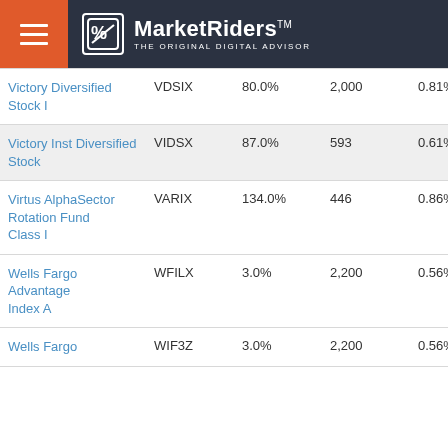MarketRiders THE ORIGINAL DIGITAL ADVISOR
| Fund Name | Ticker | % | Amount | Fee |
| --- | --- | --- | --- | --- |
| Victory Diversified Stock I | VDSIX | 80.0% | 2,000 | 0.81% |
| Victory Inst Diversified Stock | VIDSX | 87.0% | 593 | 0.61% |
| Virtus AlphaSector Rotation Fund Class I | VARIX | 134.0% | 446 | 0.86% |
| Wells Fargo Advantage Index A | WFILX | 3.0% | 2,200 | 0.56% |
| Wells Fargo | WIF3Z | 3.0% | 2,200 | 0.56% |